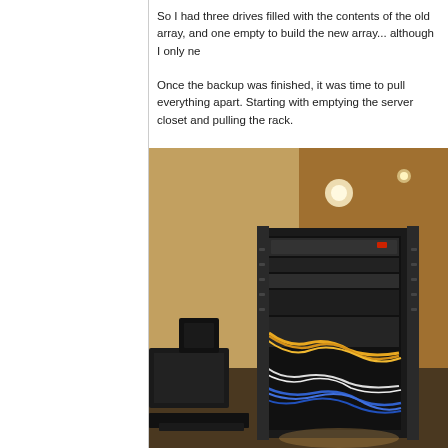So I had three drives filled with the contents of the old array, and one empty to build the new array... although I only ne

Once the backup was finished, it was time to pull everything apart. Starting with emptying the server closet and pulling the rack.
[Figure (photo): A server rack with various networking and server equipment pulled out into a room. The rack is open and shows cables, switches, and other hardware. The room has recessed ceiling lights and beige walls.]